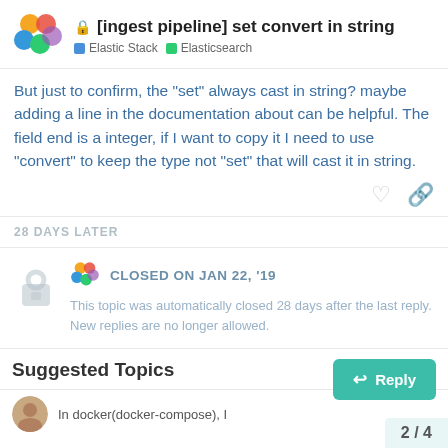[ingest pipeline] set convert in string — Elastic Stack · Elasticsearch
But just to confirm, the "set" always cast in string? maybe adding a line in the documentation about can be helpful. The field end is a integer, if I want to copy it I need to use "convert" to keep the type not "set" that will cast it in string.
28 DAYS LATER
CLOSED ON JAN 22, '19
This topic was automatically closed 28 days after the last reply. New replies are no longer allowed.
Suggested Topics
In docker(docker-compose), I
2 / 4